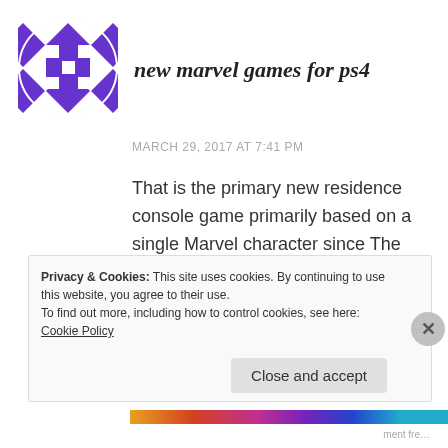[Figure (logo): Purple and white diamond-pattern avatar/logo icon — a square icon with alternating purple diamonds and a grid-of-squares motif in the center]
new marvel games for ps4
MARCH 29, 2017 AT 7:41 PM
That is the primary new residence console game primarily based on a single Marvel character since The Amazing Spider-Man 2 in 2014 – which in flip will end up the last Spidey sport to be made by Activision.
Privacy & Cookies: This site uses cookies. By continuing to use this website, you agree to their use. To find out more, including how to control cookies, see here: Cookie Policy
Close and accept